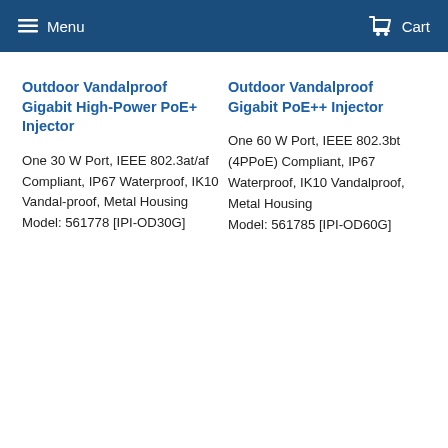Menu  Cart
Outdoor Vandalproof Gigabit High-Power PoE+ Injector
One 30 W Port, IEEE 802.3at/af Compliant, IP67 Waterproof, IK10 Vandal-proof, Metal Housing Model: 561778 [IPI-OD30G]
Outdoor Vandalproof Gigabit PoE++ Injector
One 60 W Port, IEEE 802.3bt (4PPoE) Compliant, IP67 Waterproof, IK10 Vandalproof, Metal Housing Model: 561785 [IPI-OD60G]